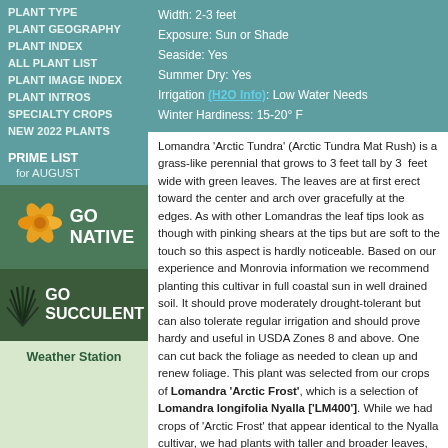PLANT TYPE
PLANT GEOGRAPHY
PLANT INDEX
ALL PLANT LIST
PLANT IMAGE INDEX
PLANT INTROS
SPECIALTY CROPS
NEW 2022 PLANTS
PRIME LIST for AUGUST
[Figure (illustration): GO NATIVE yellow flower illustration with text GO NATIVE]
[Figure (illustration): GO SUCCULENT dark grass-like plant illustration with text GO SUCCULENT]
Weather Station
Width: 2-3 feet
Exposure: Sun or Shade
Seaside: Yes
Summer Dry: Yes
Irrigation (H2O Info): Low Water Needs
Winter Hardiness: 15-20° F
Lomandra 'Arctic Tundra' (Arctic Tundra Mat Rush) is a grass-like perennial that grows to 3 feet tall by 3 feet wide with green leaves. The leaves are at first erect toward the center, gracefully curving over at the edges. As with other Lomandras the leaf tips look as though with pinking shears at the tips but are soft to the touch so this aspect is hardly noticeable. Based on our experience and Monrovia's information we recommend planting this cultivar in full coastal sun in well drained soil. It should prove moderately drought tolerant but can also tolerate regular irrigation and should prove hardy and useful in USDA Zones 8 and above. One can cut back the foliage as needed to clean up and renew foliage. This plant was selected from our crops of Lomandra 'Arctic Frost', which is a selection of Lomandra longifolia Nyalla ['LM400']. While we had crops of 'Arctic Frost' that appear identical to the Nyalla cultivar, we also had plants with taller and broader leaves, and it is these that we have selected and named 'Arctic Tundra'. The name Lomandra comes from 'loma' meaning "margin" and 'andros' meaning "male" and is in reference to the margined anthers. The specific epithet 'longifolia' means "long leaved". Lomandra has long been placed in the past with the Australian endemic family Xanthorrhoaceae or related Dasypogonaceae and later in its own family, the Lomandraceae, or combined with the...